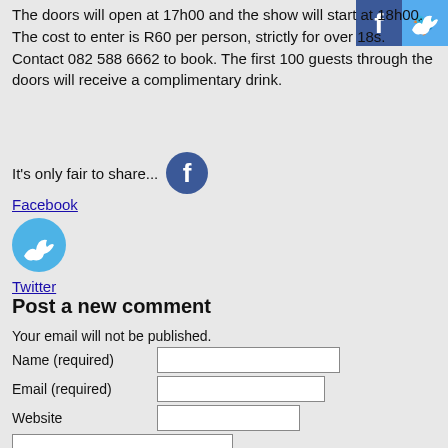The doors will open at 17h00 and the show will start at 18h00. The cost to enter is R60 per person, strictly for over 18s. Contact 082 588 6662 to book. The first 100 guests through the doors will receive a complimentary drink.
[Figure (logo): Facebook and Twitter social media icons in top right corner]
It's only fair to share...
[Figure (logo): Facebook circular blue icon]
Facebook
[Figure (logo): Twitter circular blue icon]
Twitter
Post a new comment
Your email will not be published. Name (required) Email (required) Website
Submitting comment